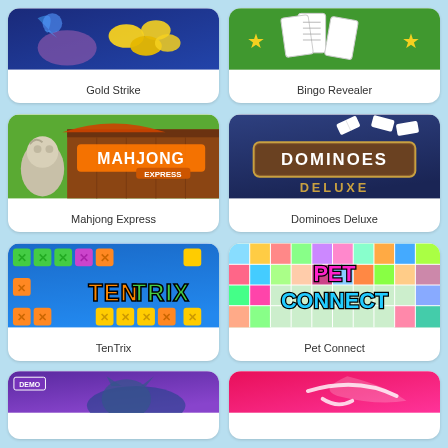[Figure (illustration): Gold Strike game thumbnail - blue background with gold coins and gems]
Gold Strike
[Figure (illustration): Bingo Revealer game thumbnail - green grass background with bingo cards and stars]
Bingo Revealer
[Figure (illustration): Mahjong Express game thumbnail - Chinese lion statue and wooden gate with orange banner]
Mahjong Express
[Figure (illustration): Dominoes Deluxe game thumbnail - dark blue background with domino tiles and logo]
Dominoes Deluxe
[Figure (illustration): TenTrix game thumbnail - blue background with colorful block puzzle pieces spelling TENTRIX]
TenTrix
[Figure (illustration): Pet Connect game thumbnail - colorful pet icons grid with PET CONNECT logo]
Pet Connect
[Figure (illustration): Demo game thumbnail - purple background with DEMO badge]
[Figure (illustration): Game thumbnail with pink/red gradient background]